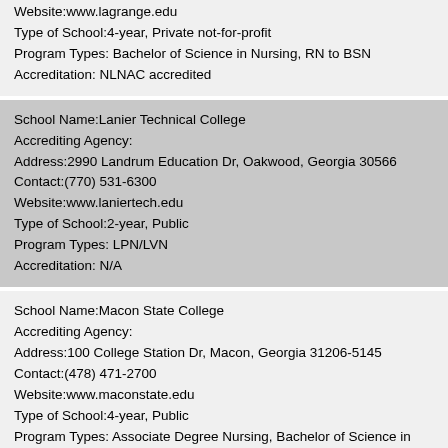Website:www.lagrange.edu
Type of School:4-year, Private not-for-profit
Program Types: Bachelor of Science in Nursing, RN to BSN
Accreditation: NLNAC accredited
School Name:Lanier Technical College
Accrediting Agency:
Address:2990 Landrum Education Dr, Oakwood, Georgia 30566
Contact:(770) 531-6300
Website:www.laniertech.edu
Type of School:2-year, Public
Program Types: LPN/LVN
Accreditation: N/A
School Name:Macon State College
Accrediting Agency:
Address:100 College Station Dr, Macon, Georgia 31206-5145
Contact:(478) 471-2700
Website:www.maconstate.edu
Type of School:4-year, Public
Program Types: Associate Degree Nursing, Bachelor of Science in Nursing